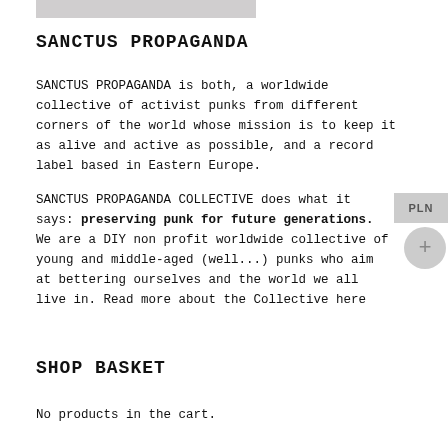SANCTUS PROPAGANDA
SANCTUS PROPAGANDA is both, a worldwide collective of activist punks from different corners of the world whose mission is to keep it as alive and active as possible, and a record label based in Eastern Europe.
SANCTUS PROPAGANDA COLLECTIVE does what it says: preserving punk for future generations. We are a DIY non profit worldwide collective of young and middle-aged (well...) punks who aim at bettering ourselves and the world we all live in. Read more about the Collective here
SHOP BASKET
No products in the cart.